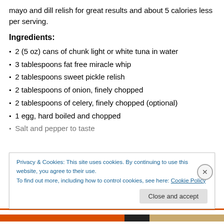mayo and dill relish for great results and about 5 calories less per serving.
Ingredients:
2 (5 oz) cans of chunk light or white tuna in water
3 tablespoons fat free miracle whip
2 tablespoons sweet pickle relish
2 tablespoons of onion, finely chopped
2 tablespoons of celery, finely chopped (optional)
1 egg, hard boiled and chopped
Salt and pepper to taste
Privacy & Cookies: This site uses cookies. By continuing to use this website, you agree to their use. To find out more, including how to control cookies, see here: Cookie Policy